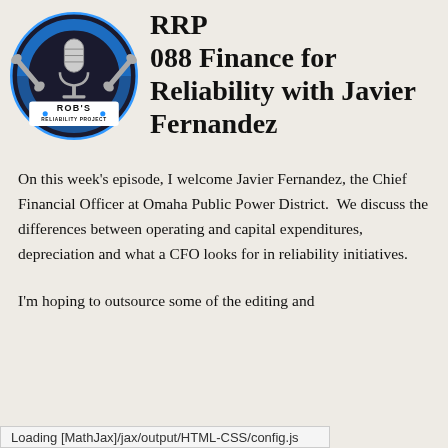[Figure (logo): Rob's Reliability Project podcast logo — circular badge with microphone, crossed wrenches, blue and black color scheme, white text 'ROB'S RELIABILITY PROJECT']
RRP 088 Finance for Reliability with Javier Fernandez
On this week's episode, I welcome Javier Fernandez, the Chief Financial Officer at Omaha Public Power District.  We discuss the differences between operating and capital expenditures, depreciation and what a CFO looks for in reliability initiatives.
I'm hoping to outsource some of the editing and producing
Loading [MathJax]/jax/output/HTML-CSS/config.js